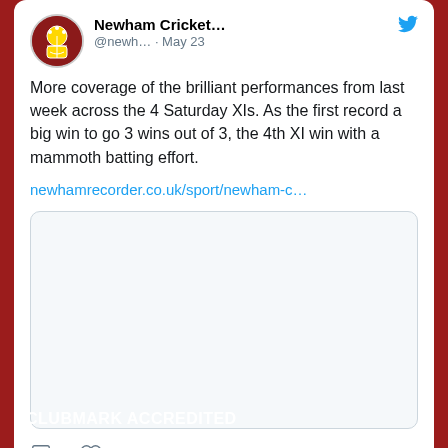[Figure (screenshot): Screenshot of a Twitter/social media post by Newham Cricket (@newh...) dated May 23. The post reads: 'More coverage of the brilliant performances from last week across the 4 Saturday XIs. As the first record a big win to go 3 wins out of 3, the 4th XI win with a mammoth batting effort.' Includes a link: newhamrecorder.co.uk/sport/newham-c... and a blank white image box. Shows 1 like. Below is a partially visible second tweet from Newham Cricket @newh... May 23.]
More coverage of the brilliant performances from last week across the 4 Saturday XIs. As the first record a big win to go 3 wins out of 3, the 4th XI win with a mammoth batting effort.
newhamrecorder.co.uk/sport/newham-c...
CLUBMARK ACCREDITED